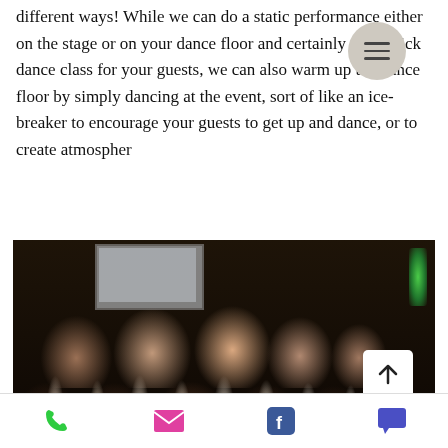different ways! While we can do a static performance either on the stage or on your dance floor and certainly do a quick dance class for your guests, we can also warm up the dance floor by simply dancing at the event, sort of like an ice-breaker to encourage your guests to get up and dance, or to create atmospher
[Figure (photo): Photo of a lively event/party with a crowd of people raising their arms and dancing enthusiastically in a darkened venue, with a projection screen visible in the background and green lighting on the right side.]
Navigation bar with phone, email, Facebook, and chat icons